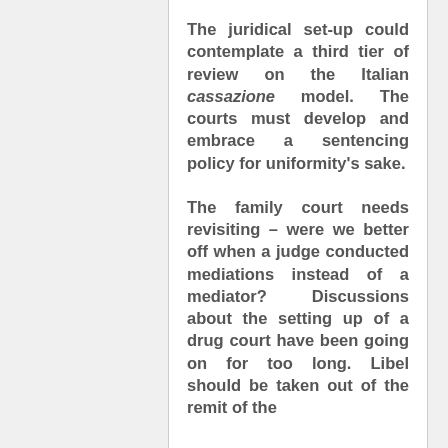The juridical set-up could contemplate a third tier of review on the Italian cassazione model. The courts must develop and embrace a sentencing policy for uniformity's sake.
The family court needs revisiting – were we better off when a judge conducted mediations instead of a mediator? Discussions about the setting up of a drug court have been going on for too long. Libel should be taken out of the remit of the